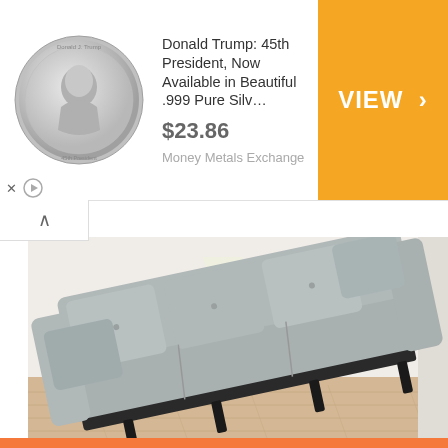[Figure (photo): Advertisement banner: Donald Trump silver coin with price $23.86 and orange VIEW button, from Money Metals Exchange]
[Figure (photo): Photo of a grey modern sofa tilted diagonally against a white wall with wood floor, with a lamp in the background]
Ashburn: Unsold Sofas Now May Be Almost Given Away: See Prices
Sofas
Click Here